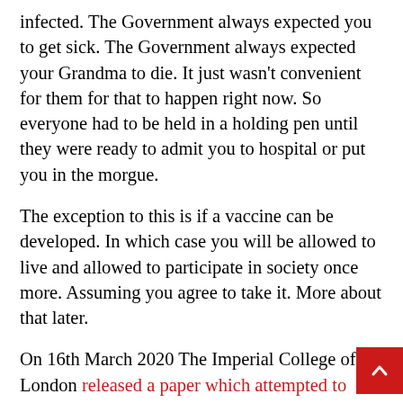infected. The Government always expected you to get sick. The Government always expected your Grandma to die. It just wasn't convenient for them for that to happen right now. So everyone had to be held in a holding pen until they were ready to admit you to hospital or put you in the morgue.
The exception to this is if a vaccine can be developed. In which case you will be allowed to live and allowed to participate in society once more. Assuming you agree to take it. More about that later.
On 16th March 2020 The Imperial College of London released a paper which attempted to model the future outcome of the CoVid19 pandemic under various totalitarian scenarios and provided advice to Governments around the world about how they should respond. It was titled: “Impact of non-